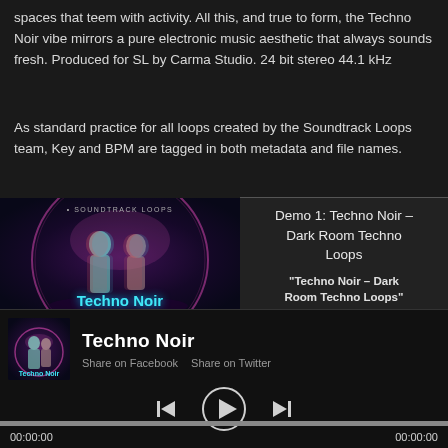spaces that teem with activity. All this, and true to form, the Techno Noir vibe mirrors a pure electronic music aesthetic that always sounds fresh. Produced for SL by Carma Studio. 24 bit stereo 44.1 kHz
As standard practice for all loops created by the Soundtrack Loops team, Key and BPM are tagged in both metadata and file names.
[Figure (photo): Album art for Techno Noir – Dark Room Techno Loops. Dark background with two humanoid figures inside a glowing circular design. Teal and red chromatic aberration effect. Text 'Techno Noir' in glowing teal at the bottom. Small 'Soundtrack Loops' text at top.]
Demo 1: Techno Noir – Dark Room Techno Loops

"Techno Noir – Dark Room Techno Loops" works in all DAWS and
[Figure (screenshot): Audio player widget at the bottom of the page. Thumbnail of Techno Noir album art on the left. Title 'Techno Noir' in large white text. Share on Facebook and Share on Twitter links. Playback controls: previous, play (circle button), next. Progress bar spanning full width. Timestamps 00:00:00 on left and right.]